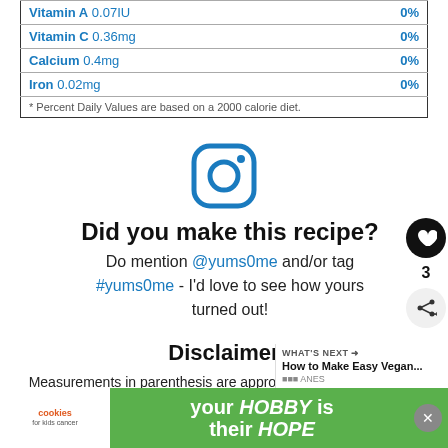| Nutrient | Amount | DV% |
| --- | --- | --- |
| Vitamin A | 0.07IU | 0% |
| Vitamin C | 0.36mg | 0% |
| Calcium | 0.4mg | 0% |
| Iron | 0.02mg | 0% |
| * Percent Daily Values are based on a 2000 calorie diet. |  |  |
[Figure (logo): Instagram logo icon in blue outline style]
Did you make this recipe? Do mention @yums0me and/or tag #yums0me - I'd love to see how yours turned out!
Disclaimer
Measurements in parenthesis are approximate; it is beyond the scope of yumsome to be able to provide p
[Figure (infographic): Advertisement banner: your HOBBY is their HOPE with cookies for kids cancer logo]